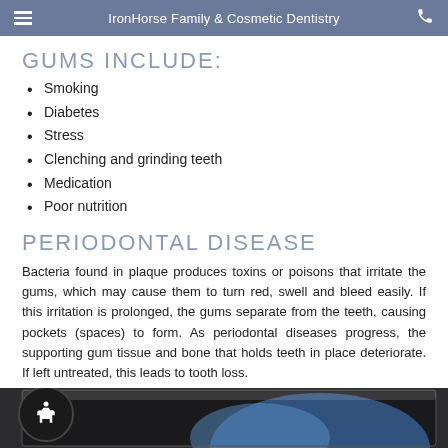IronHorse Family & Cosmetic Dentistry
GUMS INCLUDE:
Smoking
Diabetes
Stress
Clenching and grinding teeth
Medication
Poor nutrition
PERIODONTAL DISEASE
Bacteria found in plaque produces toxins or poisons that irritate the gums, which may cause them to turn red, swell and bleed easily. If this irritation is prolonged, the gums separate from the teeth, causing pockets (spaces) to form. As periodontal diseases progress, the supporting gum tissue and bone that holds teeth in place deteriorate. If left untreated, this leads to tooth loss.
PREVENTING GUM DISEASE
[Figure (illustration): Partial image area at bottom of page showing a dental or medical illustration with blue and white tones, partially obscured by accessibility button]